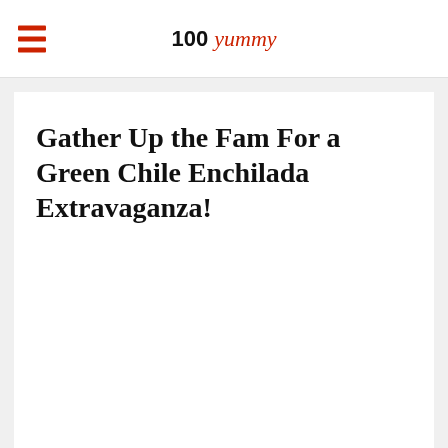100 yummy
Gather Up the Fam For a Green Chile Enchilada Extravaganza!